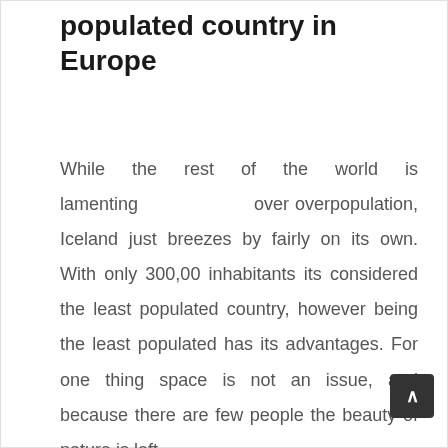populated country in Europe
While the rest of the world is lamenting over overpopulation, Iceland just breezes by fairly on its own. With only 300,00 inhabitants its considered the least populated country, however being the least populated has its advantages. For one thing space is not an issue, and because there are few people the beauty of nature is left